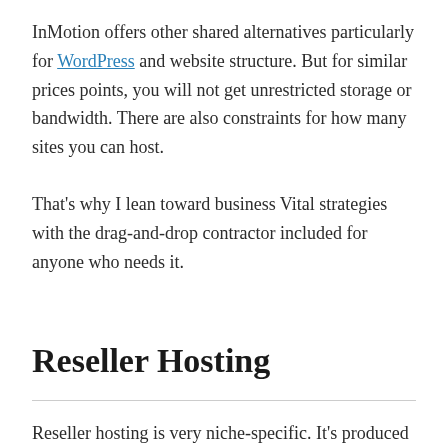InMotion offers other shared alternatives particularly for WordPress and website structure. But for similar prices points, you will not get unrestricted storage or bandwidth. There are also constraints for how many sites you can host.
That's why I lean toward business Vital strategies with the drag-and-drop contractor included for anyone who needs it.
Reseller Hosting
Reseller hosting is very niche-specific. It's produced